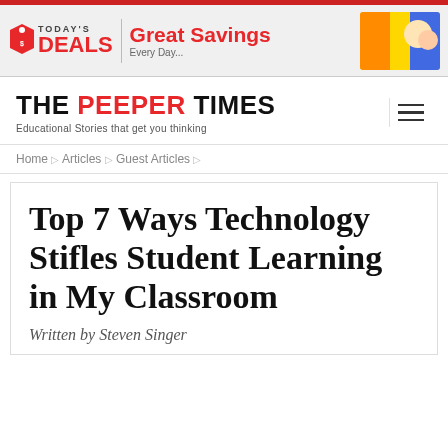[Figure (other): Advertisement banner for Today's Deals featuring 'Great Savings' text and colorful graphic on right]
THE PEEPER TIMES — Educational Stories that get you thinking
Home ▷ Articles ▷ Guest Articles ▷
Top 7 Ways Technology Stifles Student Learning in My Classroom
Written by Steven Singer